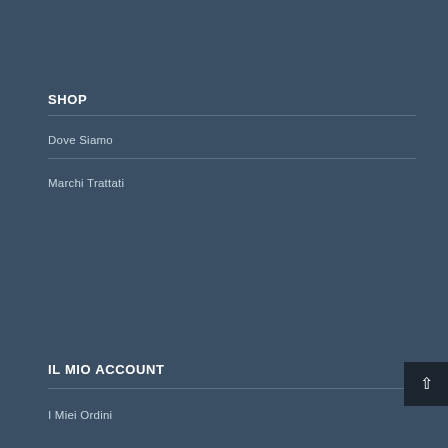SHOP
Dove Siamo
Marchi Trattati
IL MIO ACCOUNT
I Miei Ordini